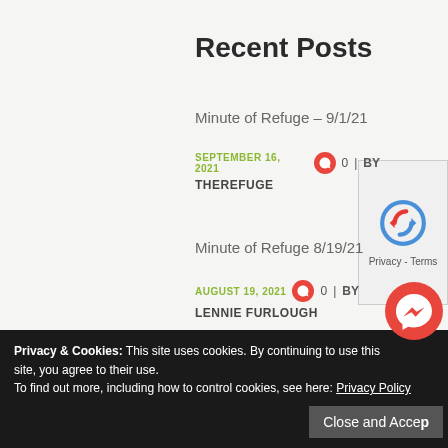Recent Posts
Minute of Refuge – 9/1/21
SEPTEMBER 16, 2021   0 | BY THEREFUGE
Minute of Refuge 8/19/21
AUGUST 19, 2021   0 | BY LENNIE FURLOUGH
Privacy & Cookies: This site uses cookies. By continuing to use this site, you agree to their use. To find out more, including how to control cookies, see here: Privacy Policy
Close and Accept